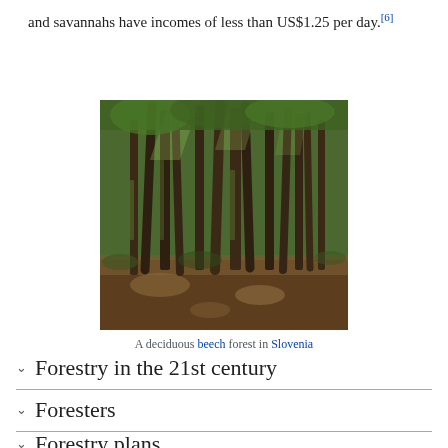and savannahs have incomes of less than US$1.25 per day.[6]
[Figure (photo): A photograph of a deciduous beech forest in Slovenia, showing tall, slender tree trunks with green foliage and brown leaf-covered ground.]
A deciduous beech forest in Slovenia
Forestry in the 21st century
Foresters
Forestry plans